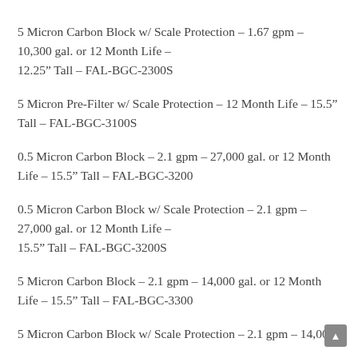5 Micron Carbon Block w/ Scale Protection – 1.67 gpm – 10,300 gal. or 12 Month Life – 12.25" Tall – FAL-BGC-2300S
5 Micron Pre-Filter w/ Scale Protection – 12 Month Life – 15.5" Tall – FAL-BGC-3100S
0.5 Micron Carbon Block – 2.1 gpm – 27,000 gal. or 12 Month Life – 15.5" Tall – FAL-BGC-3200
0.5 Micron Carbon Block w/ Scale Protection – 2.1 gpm – 27,000 gal. or 12 Month Life – 15.5" Tall – FAL-BGC-3200S
5 Micron Carbon Block – 2.1 gpm – 14,000 gal. or 12 Month Life – 15.5" Tall – FAL-BGC-3300
5 Micron Carbon Block w/ Scale Protection – 2.1 gpm – 14,000